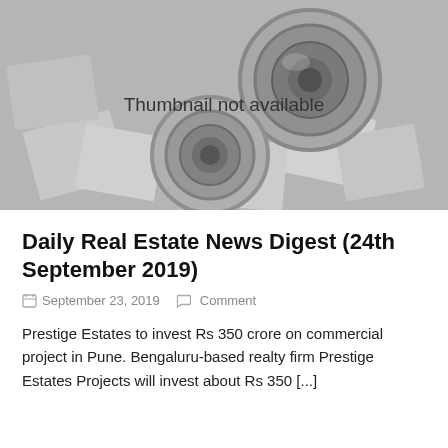[Figure (photo): Thumbnail not available placeholder image showing camera lenses on scattered photographs, grayscale]
Daily Real Estate News Digest (24th September 2019)
September 23, 2019   Comment
Prestige Estates to invest Rs 350 crore on commercial project in Pune. Bengaluru-based realty firm Prestige Estates Projects will invest about Rs 350 [...]